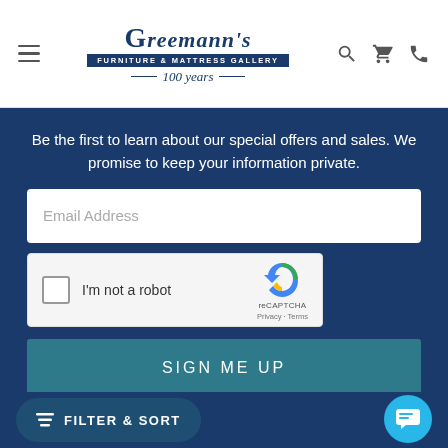[Figure (logo): Greemann's Furniture & Mattress Gallery logo with '100 years' tagline]
Be the first to learn about our special offers and sales. We promise to keep your information private.
[Figure (screenshot): Email Address input field (empty)]
[Figure (screenshot): reCAPTCHA widget with checkbox 'I'm not a robot']
[Figure (screenshot): SIGN ME UP button]
[Figure (screenshot): FILTER & SORT button and chat bubble icon]